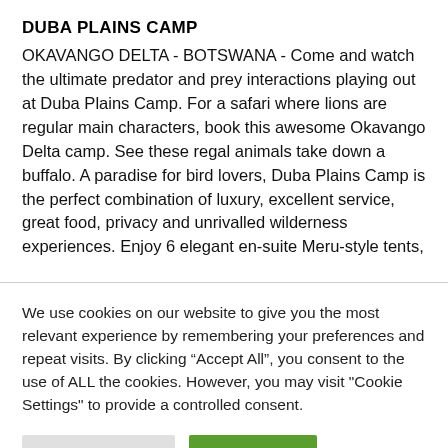DUBA PLAINS CAMP
OKAVANGO DELTA - BOTSWANA - Come and watch the ultimate predator and prey interactions playing out at Duba Plains Camp. For a safari where lions are regular main characters, book this awesome Okavango Delta camp. See these regal animals take down a buffalo. A paradise for bird lovers, Duba Plains Camp is the perfect combination of luxury, excellent service, great food, privacy and unrivalled wilderness experiences. Enjoy 6 elegant en-suite Meru-style tents,
We use cookies on our website to give you the most relevant experience by remembering your preferences and repeat visits. By clicking “Accept All”, you consent to the use of ALL the cookies. However, you may visit "Cookie Settings" to provide a controlled consent.
Cookie Settings | Accept All